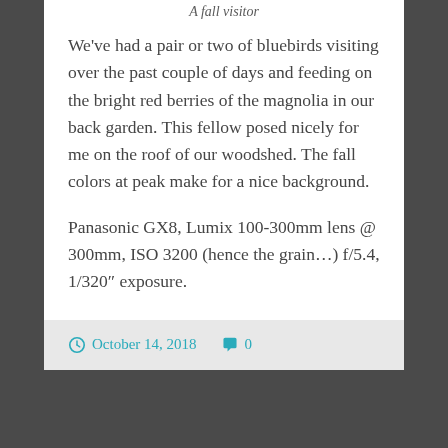A fall visitor
We've had a pair or two of bluebirds visiting over the past couple of days and feeding on the bright red berries of the magnolia in our back garden. This fellow posed nicely for me on the roof of our woodshed. The fall colors at peak make for a nice background.
Panasonic GX8, Lumix 100-300mm lens @ 300mm, ISO 3200 (hence the grain…) f/5.4, 1/320″ exposure.
October 14, 2018   0
Glory Blue